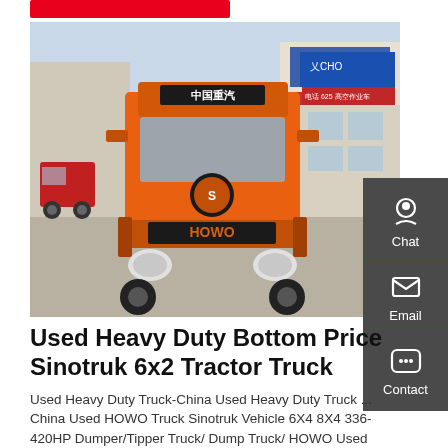[Figure (photo): Front view of an orange HOWO Sinotruk tractor truck parked in a lot with Chinese commercial buildings in the background]
Used Heavy Duty Bottom Price Sinotruk 6x2 Tractor Truck
Used Heavy Duty Truck-China Used Heavy Duty Truck ... China Used HOWO Truck Sinotruk Vehicle 6X4 8X4 336-420HP Dumper/Tipper Truck/ Dump Truck/ HOWO Used Dump Truck/ Howo Dump Truck/